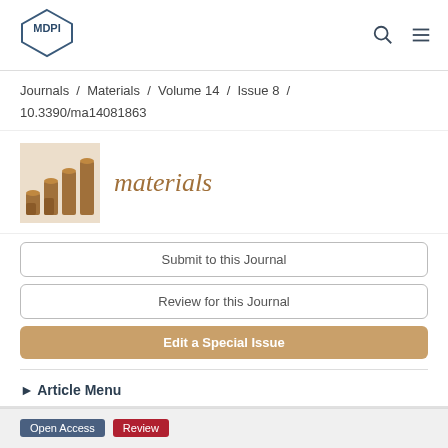[Figure (logo): MDPI logo — hexagonal shape with MDPI text]
Journals / Materials / Volume 14 / Issue 8 / 10.3390/ma14081863
[Figure (logo): Materials journal logo with stacked cylindrical shapes and italic 'materials' text]
Submit to this Journal
Review for this Journal
Edit a Special Issue
► Article Menu
Open Access  Review
Tribological Performance of